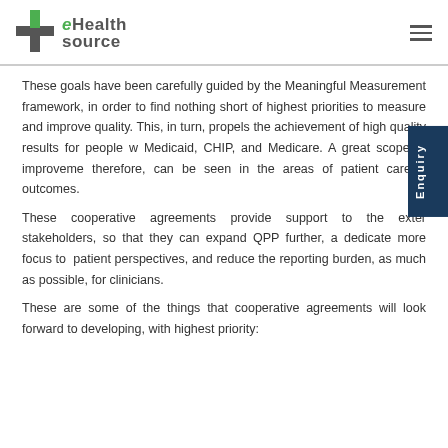eHealth source
These goals have been carefully guided by the Meaningful Measurement framework, in order to find nothing short of highest priorities to measure and improve quality. This, in turn, propels the achievement of high quality results for people with Medicaid, CHIP, and Medicare. A great scope of improvement, therefore, can be seen in the areas of patient care and outcomes.
These cooperative agreements provide support to the external stakeholders, so that they can expand QPP further, and dedicate more focus to patient perspectives, and reduce the reporting burden, as much as possible, for clinicians.
These are some of the things that cooperative agreements will look forward to developing, with highest priority: